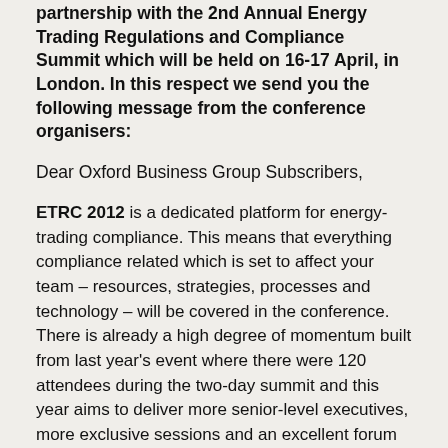partnership with the 2nd Annual Energy Trading Regulations and Compliance Summit which will be held on 16-17 April, in London. In this respect we send you the following message from the conference organisers:
Dear Oxford Business Group Subscribers,
ETRC 2012 is a dedicated platform for energy-trading compliance. This means that everything compliance related which is set to affect your team – resources, strategies, processes and technology – will be covered in the conference. There is already a high degree of momentum built from last year's event where there were 120 attendees during the two-day summit and this year aims to deliver more senior-level executives, more exclusive sessions and an excellent forum in which you can meet your peers.
Since October 2011 when the European Commission's newest regulations were been assigned there has been a new urgency for energy companies and trading banks. ETRC 2012 aims to bring you the latest updates from key regulators such as the